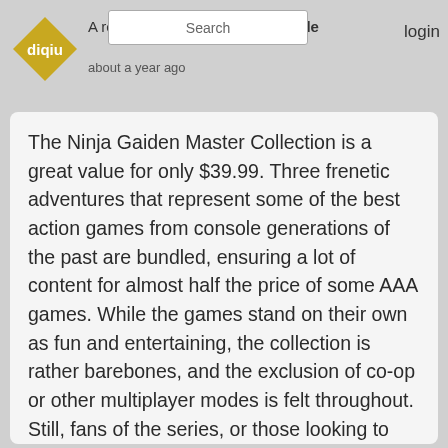diqiu — A review for PlayStation LifeStyle — Search — login — about a year ago
The Ninja Gaiden Master Collection is a great value for only $39.99. Three frenetic adventures that represent some of the best action games from console generations of the past are bundled, ensuring a lot of content for almost half the price of some AAA games. While the games stand on their own as fun and entertaining, the collection is rather barebones, and the exclusion of co-op or other multiplayer modes is felt throughout. Still, fans of the series, or those looking to become fans, can hardly go wrong with the purchase of this collection.